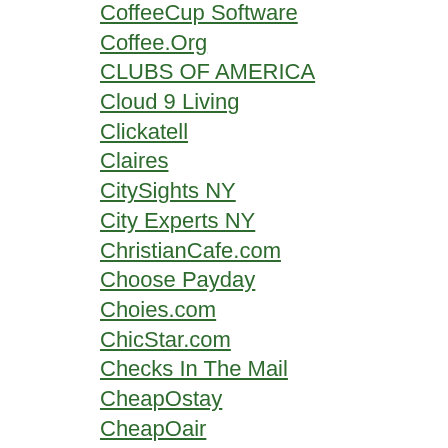CoffeeCup Software
Coffee.Org
CLUBS OF AMERICA
Cloud 9 Living
Clickatell
Claires
CitySights NY
City Experts NY
ChristianCafe.com
Choose Payday
Choies.com
ChicStar.com
Checks In The Mail
CheapOstay
CheapOair
CheapAir.com
Cheap Cycle Parts
CengageBrain
Cell Phone Shop